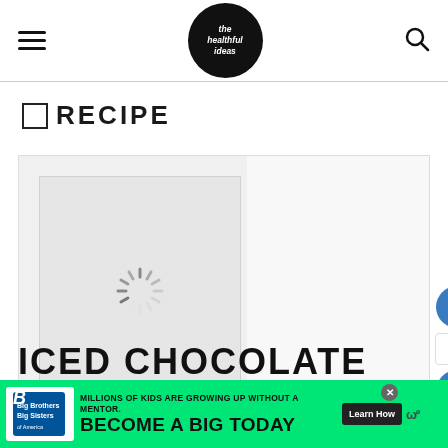the healthful ideas — navigation header with hamburger menu, logo, and search icon
☐ RECIPE
[Figure (photo): Loading image placeholder with spinner icon for recipe photo. Right half is large light gray area.]
ICED CHOCOLATE
[Figure (infographic): Advertisement banner: Big Brothers Big Sisters. 'MILLIONS OF KIDS ARE GROWING UP WITHOUT A MENTOR. BECOME A BIG TODAY' with Learn How button.]